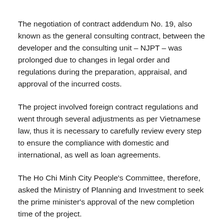The negotiation of contract addendum No. 19, also known as the general consulting contract, between the developer and the consulting unit – NJPT – was prolonged due to changes in legal order and regulations during the preparation, appraisal, and approval of the incurred costs.
The project involved foreign contract regulations and went through several adjustments as per Vietnamese law, thus it is necessary to carefully review every step to ensure the compliance with domestic and international, as well as loan agreements.
The Ho Chi Minh City People's Committee, therefore, asked the Ministry of Planning and Investment to seek the prime minister's approval of the new completion time of the project.